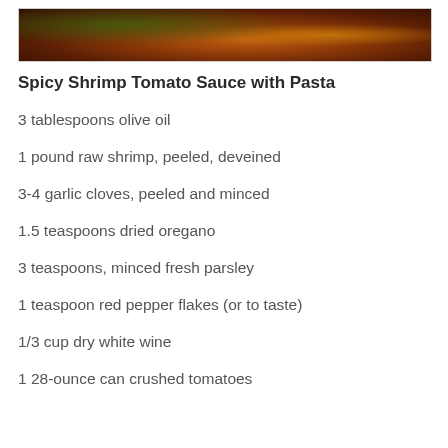[Figure (photo): Close-up photo of spicy shrimp tomato sauce with pasta, showing reddish-brown sauce with shrimp and vegetables]
Spicy Shrimp Tomato Sauce with Pasta
3 tablespoons olive oil
1 pound raw shrimp, peeled, deveined
3-4 garlic cloves, peeled and minced
1.5 teaspoons dried oregano
3 teaspoons, minced fresh parsley
1 teaspoon red pepper flakes (or to taste)
1/3 cup dry white wine
1 28-ounce can crushed tomatoes